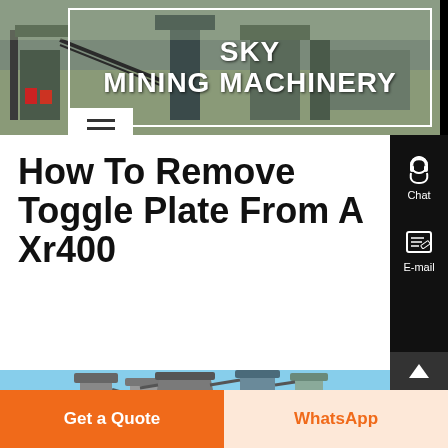[Figure (photo): Header photo of mining machinery/crushing equipment at a quarry site with the SKY Mining Machinery logo overlay in a white-bordered box]
How To Remove Toggle Plate From A Xr400
[Figure (photo): Photo of industrial dust collection or processing equipment with large cylindrical ducts/hoppers against a blue sky]
Get a Quote
WhatsApp